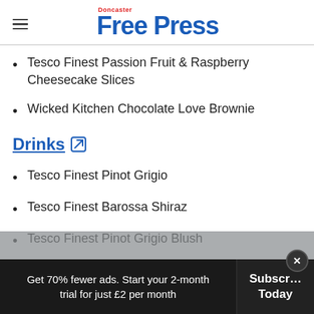Doncaster Free Press
Tesco Finest Passion Fruit & Raspberry Cheesecake Slices
Wicked Kitchen Chocolate Love Brownie
Drinks
Tesco Finest Pinot Grigio
Tesco Finest Barossa Shiraz
Tesco Finest Pinot Grigio Blush
Tesco Finest Prosecco Valdobbiadene DOCG Peroni
Get 70% fewer ads. Start your 2-month trial for just £2 per month